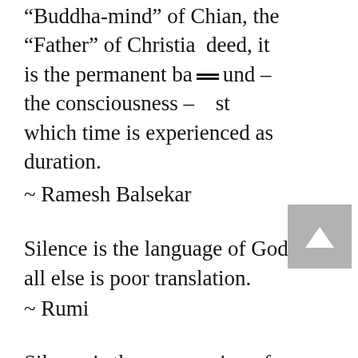“Buddha-mind” of Chian, the “Father” of Christian deed, it is the permanent ba und – the consciousness – st which time is experienced as duration.
~ Ramesh Balsekar
Silence is the language of God, all else is poor translation.
~ Rumi
Silence is the communing of a conscious soul with itself. If the soul attend for a moment to its own infinity, then and there is silence. She is audible to all men, at all times, in all places, and if